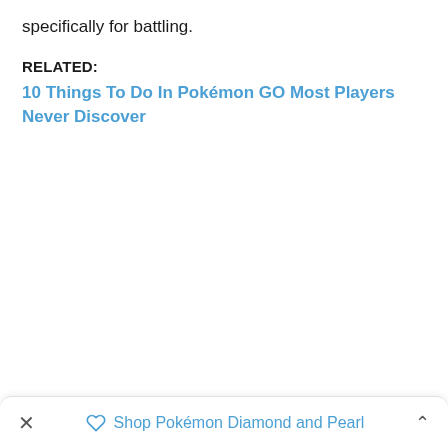specifically for battling.
RELATED:
10 Things To Do In Pokémon GO Most Players Never Discover
× ◇ Shop Pokémon Diamond and Pearl ^